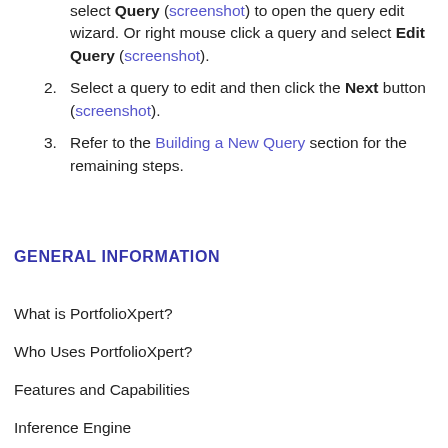select Query (screenshot) to open the query edit wizard. Or right mouse click a query and select Edit Query (screenshot).
Select a query to edit and then click the Next button (screenshot).
Refer to the Building a New Query section for the remaining steps.
GENERAL INFORMATION
What is PortfolioXpert?
Who Uses PortfolioXpert?
Features and Capabilities
Inference Engine
Development